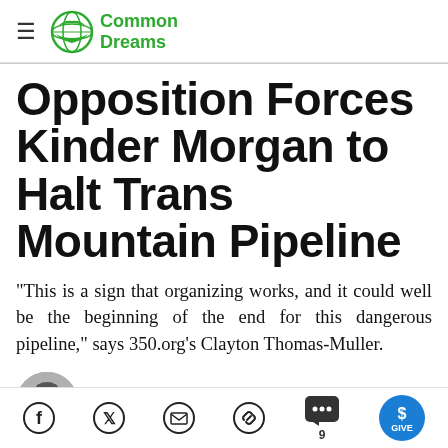Common Dreams
Opposition Forces Kinder Morgan to Halt Trans Mountain Pipeline
"This is a sign that organizing works, and it could well be the beginning of the end for this dangerous pipeline," says 350.org's Clayton Thomas-Muller.
ANDREA GERMANOS